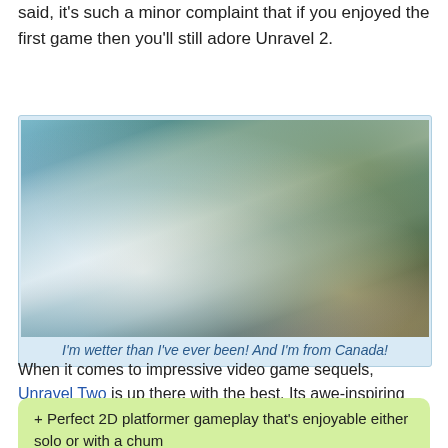said, it's such a minor complaint that if you enjoyed the first game then you'll still adore Unravel 2.
[Figure (photo): A nature scene showing rushing white water rapids over rocks, with tall trees and misty forest in the background. Dramatic lighting with a golden glow in the lower right.]
I'm wetter than I've ever been! And I'm from Canada!
When it comes to impressive video game sequels, Unravel Two is up there with the best. Its awe-inspiring world and pitch-perfect gameplay make it one of the best 2D platformers ever created. I can't wait for Unravel Three.
+ Perfect 2D platformer gameplay that's enjoyable either solo or with a chum